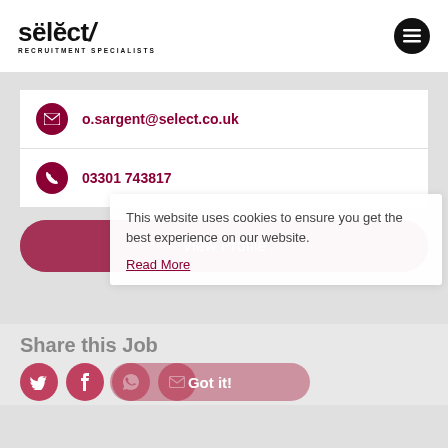[Figure (logo): Select Recruitment Specialists logo — stylized text 'sëlĕct/' with tagline 'RECRUITMENT SPECIALISTS']
o.sargent@select.co.uk
03301 743817
View Profile
This website uses cookies to ensure you get the best experience on our website.
Read More
Share this Job
Got it!